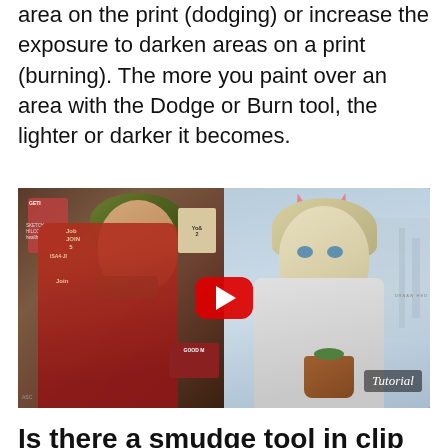area on the print (dodging) or increase the exposure to darken areas on a print (burning). The more you paint over an area with the Dodge or Burn tool, the lighter or darker it becomes.
[Figure (screenshot): YouTube-style video thumbnail showing two anime-style characters side by side. Left: a character with green hair and sunglasses in a red outfit. Right: a lighter-haired character with cat ears holding a plant pot. A red YouTube play button is overlaid in the center. The word 'Tutorial' appears in the bottom right.]
Is there a smudge tool in clip studio paint?